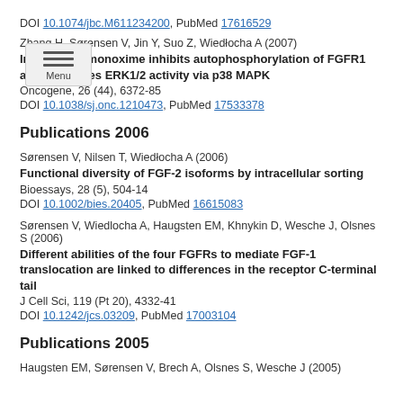DOI 10.1074/jbc.M611234200, PubMed 17616529
Zhang H, Sørensen V, Jin Y, Suo Z, Wiedłocha A (2007) Indirubin-3'-monoxime inhibits autophosphorylation of FGFR1 and stimulates ERK1/2 activity via p38 MAPK. Oncogene, 26 (44), 6372-85. DOI 10.1038/sj.onc.1210473, PubMed 17533378
Publications 2006
Sørensen V, Nilsen T, Wiedłocha A (2006) Functional diversity of FGF-2 isoforms by intracellular sorting. Bioessays, 28 (5), 504-14. DOI 10.1002/bies.20405, PubMed 16615083
Sørensen V, Wiedlocha A, Haugsten EM, Khnykin D, Wesche J, Olsnes S (2006) Different abilities of the four FGFRs to mediate FGF-1 translocation are linked to differences in the receptor C-terminal tail. J Cell Sci, 119 (Pt 20), 4332-41. DOI 10.1242/jcs.03209, PubMed 17003104
Publications 2005
Haugsten EM, Sørensen V, Brech A, Olsnes S, Wesche J (2005)